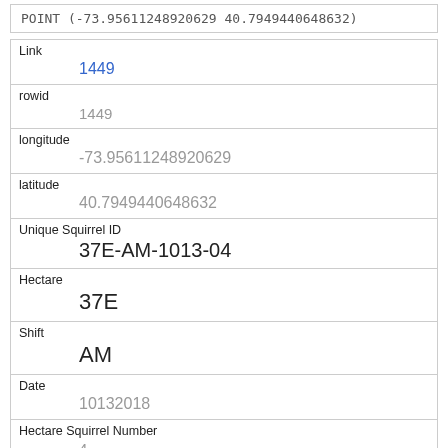POINT (-73.95611248920629 40.7949440648632)
| Field | Value |
| --- | --- |
| Link | 1449 |
| rowid | 1449 |
| longitude | -73.95611248920629 |
| latitude | 40.7949440648632 |
| Unique Squirrel ID | 37E-AM-1013-04 |
| Hectare | 37E |
| Shift | AM |
| Date | 10132018 |
| Hectare Squirrel Number | 4 |
| Age |  |